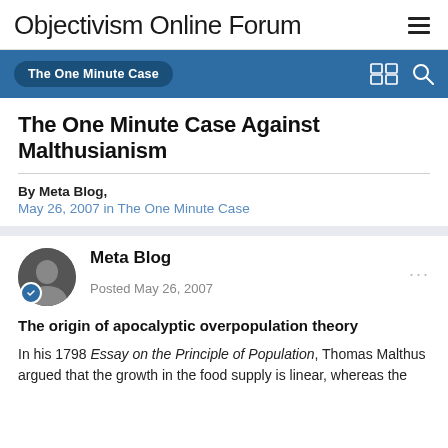Objectivism Online Forum
The One Minute Case Against Malthusianism
By Meta Blog,
May 26, 2007 in The One Minute Case
Meta Blog
Posted May 26, 2007
The origin of apocalyptic overpopulation theory
In his 1798 Essay on the Principle of Population, Thomas Malthus argued that the growth in the food supply is linear, whereas the growth in the population is exponential. When the